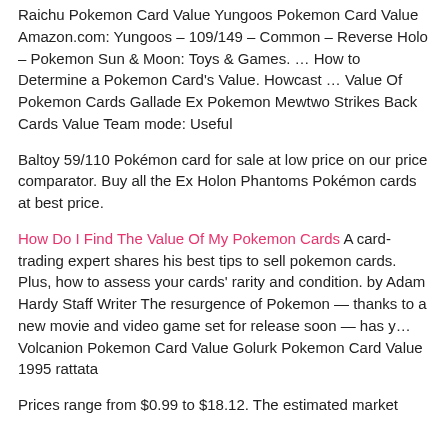Raichu Pokemon Card Value Yungoos Pokemon Card Value Amazon.com: Yungoos – 109/149 – Common – Reverse Holo – Pokemon Sun & Moon: Toys & Games. … How to Determine a Pokemon Card's Value. Howcast … Value Of Pokemon Cards Gallade Ex Pokemon Mewtwo Strikes Back Cards Value Team mode: Useful
Baltoy 59/110 Pokémon card for sale at low price on our price comparator. Buy all the Ex Holon Phantoms Pokémon cards at best price.
How Do I Find The Value Of My Pokemon Cards A card-trading expert shares his best tips to sell pokemon cards. Plus, how to assess your cards' rarity and condition. by Adam Hardy Staff Writer The resurgence of Pokemon — thanks to a new movie and video game set for release soon — has y… Volcanion Pokemon Card Value Golurk Pokemon Card Value 1995 rattata
Prices range from $0.99 to $18.12. The estimated market